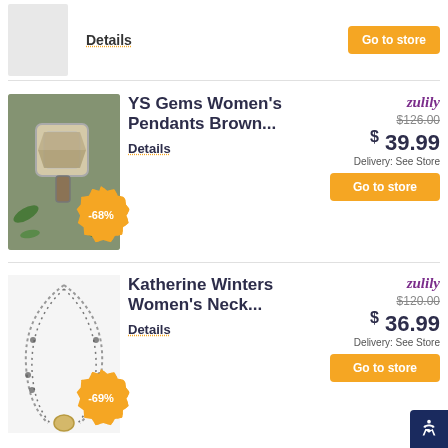[Figure (photo): Partial product image thumbnail at top of page]
Details
Go to store
[Figure (photo): YS Gems pendant jewelry photo with -68% badge]
YS Gems Women's Pendants Brown...
Details
zulily
$126.00
$ 39.99
Delivery: See Store
Go to store
[Figure (photo): Katherine Winters necklace jewelry photo with -69% badge]
Katherine Winters Women's Neck...
Details
zulily
$120.00
$ 36.99
Delivery: See Store
Go to store